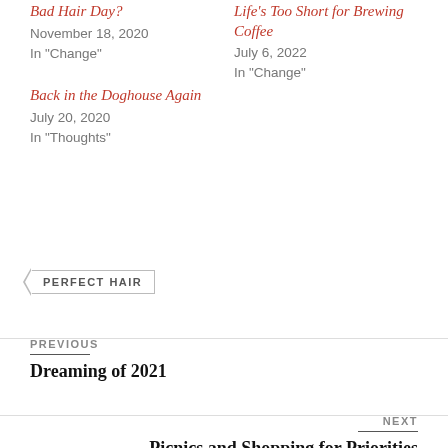Bad Hair Day?
November 18, 2020
In "Change"
Life's Too Short for Brewing Coffee
July 6, 2022
In "Change"
Back in the Doghouse Again
July 20, 2020
In "Thoughts"
PERFECT HAIR
PREVIOUS
Dreaming of 2021
NEXT
Picnics and Shopping for Priorities